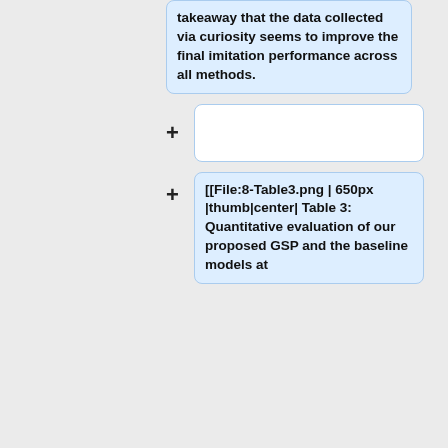takeaway that the data collected via curiosity seems to improve the final imitation performance across all methods.
[[File:8-Table3.png | 650px |thumb|center| Table 3: Quantitative evaluation of our proposed GSP and the baseline models at